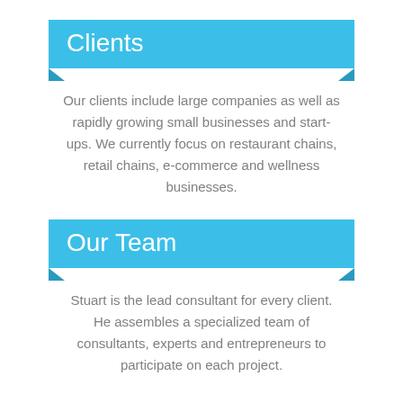Clients
Our clients include large companies as well as rapidly growing small businesses and start-ups. We currently focus on restaurant chains, retail chains, e-commerce and wellness businesses.
Our Team
Stuart is the lead consultant for every client. He assembles a specialized team of consultants, experts and entrepreneurs to participate on each project.